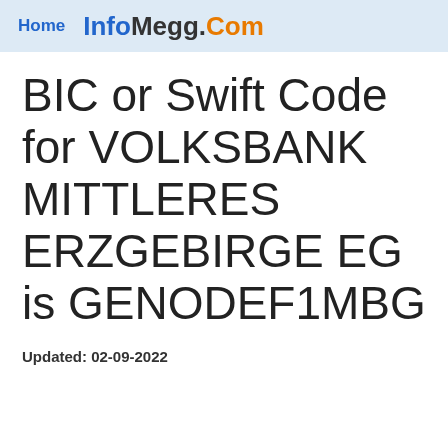Home  InfoMegg.Com
BIC or Swift Code for VOLKSBANK MITTLERES ERZGEBIRGE EG is GENODEF1MBG
Updated: 02-09-2022